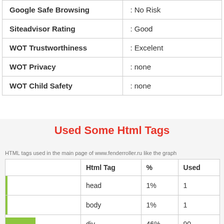|  |  |
| --- | --- |
| Google Safe Browsing | : No Risk |
| Siteadvisor Rating | : Good |
| WOT Trustworthiness | : Excelent |
| WOT Privacy | : none |
| WOT Child Safety | : none |
Used Some Html Tags
HTML tags used in the main page of www.fenderroller.ru like the graph
|  | Html Tag | % | Used |
| --- | --- | --- | --- |
|  | head | 1% | 1 |
|  | body | 1% | 1 |
|  | div | 46% | 90 |